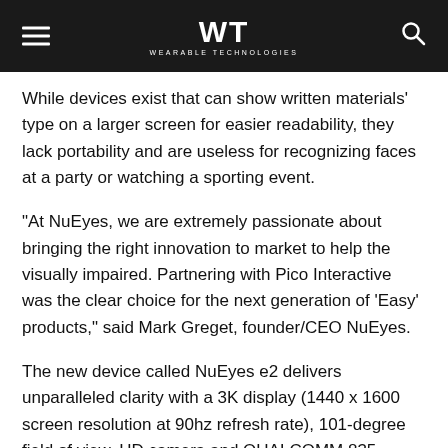WT WEARABLE TECHNOLOGIES
While devices exist that can show written materials’ type on a larger screen for easier readability, they lack portability and are useless for recognizing faces at a party or watching a sporting event.
“At NuEyes, we are extremely passionate about bringing the right innovation to market to help the visually impaired. Partnering with Pico Interactive was the clear choice for the next generation of ‘Easy’ products,” said Mark Greget, founder/CEO NuEyes.
The new device called NuEyes e2 delivers unparalleled clarity with a 3K display (1440 x 1600 screen resolution at 90hz refresh rate), 101-degree field of view, HD camera and QUALCOMM 835 snapdragon processor.